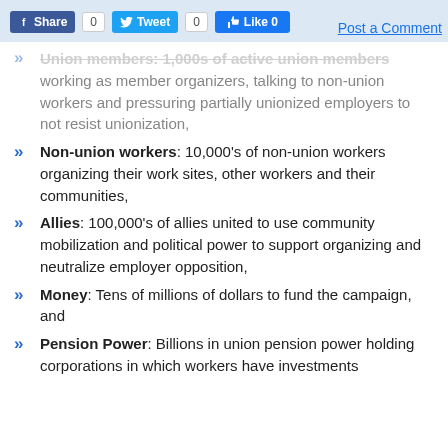Share 0  Tweet 0  Like 0  Post a Comment
Union members: 1,000s of active union members working as member organizers, talking to non-union workers and pressuring partially unionized employers to not resist unionization,
Non-union workers: 10,000's of non-union workers organizing their work sites, other workers and their communities,
Allies: 100,000's of allies united to use community mobilization and political power to support organizing and neutralize employer opposition,
Money: Tens of millions of dollars to fund the campaign, and
Pension Power: Billions in union pension power holding corporations in which workers have investments